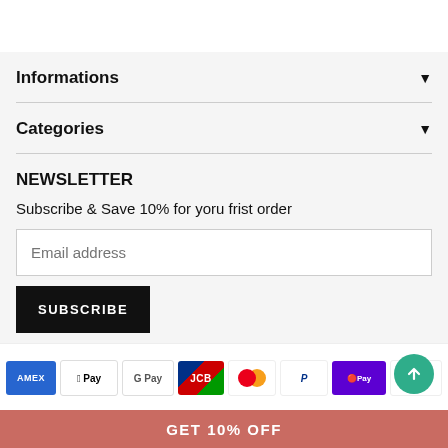Informations
Categories
NEWSLETTER
Subscribe & Save 10% for yoru frist order
Email address (input field)
SUBSCRIBE (button)
[Figure (other): Payment method icons: American Express, Apple Pay, Google Pay, JCB, Mastercard, PayPal, OPay, Visa]
©liCASE All Rights Reserved
GET 10% OFF